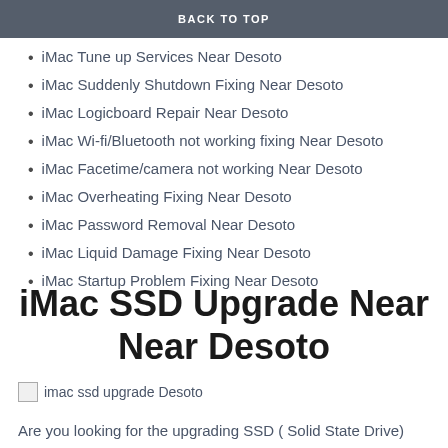iMac Slow down fix Near Desoto
iMac Tune up Services Near Desoto
iMac Suddenly Shutdown Fixing Near Desoto
iMac Logicboard Repair Near Desoto
iMac Wi-fi/Bluetooth not working fixing Near Desoto
iMac Facetime/camera not working Near Desoto
iMac Overheating Fixing Near Desoto
iMac Password Removal Near Desoto
iMac Liquid Damage Fixing Near Desoto
iMac Startup Problem Fixing Near Desoto
iMac SSD Upgrade Near Near Desoto
[Figure (photo): imac ssd upgrade Desoto image placeholder]
Are you looking for the upgrading SSD ( Solid State Drive)